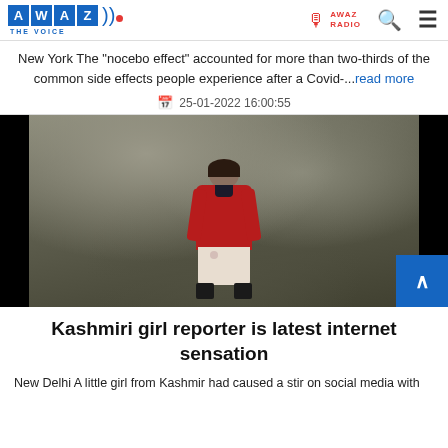AWAZ THE VOICE — AWAZ RADIO
New York The "nocebo effect" accounted for more than two-thirds of the common side effects people experience after a Covid-...read more
25-01-2022 16:00:55
[Figure (photo): A young girl standing outdoors in a rocky/wooded setting, wearing a red jacket and light-colored patterned pants and dark boots. The image is somewhat dark and desaturated.]
Kashmiri girl reporter is latest internet sensation
New Delhi A little girl from Kashmir had caused a stir on social media with